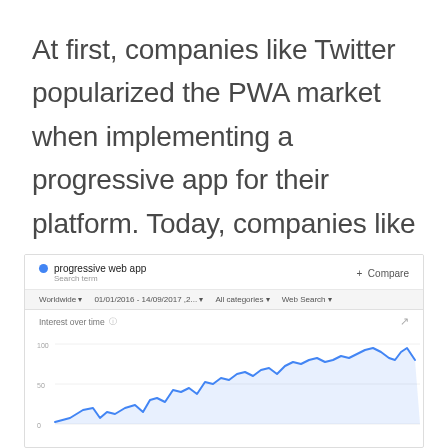At first, companies like Twitter popularized the PWA market when implementing a progressive app for their platform. Today, companies like Spotify, Facebook, and Medium have a PWA platform and native apps.
[Figure (screenshot): Google Trends screenshot showing search interest over time for 'progressive web app'. Filters: Worldwide, 01/01/2016–14/09/2017, All categories, Web Search. The line chart shows a steadily increasing trend for the search term.]